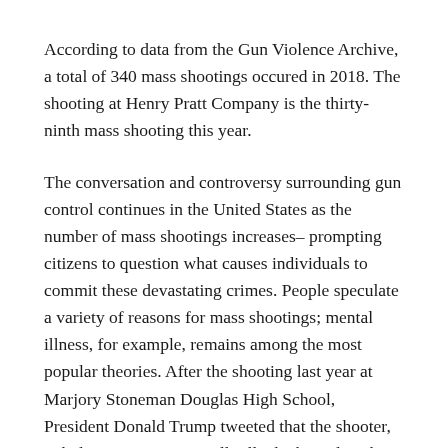According to data from the Gun Violence Archive, a total of 340 mass shootings occured in 2018. The shooting at Henry Pratt Company is the thirty-ninth mass shooting this year.
The conversation and controversy surrounding gun control continues in the United States as the number of mass shootings increases– prompting citizens to question what causes individuals to commit these devastating crimes. People speculate a variety of reasons for mass shootings; mental illness, for example, remains among the most popular theories. After the shooting last year at Marjory Stoneman Douglas High School, President Donald Trump tweeted that the shooter, Nikolas Cruz, was mentally ill which implies that Nikolas' mental illness was the main cause of the